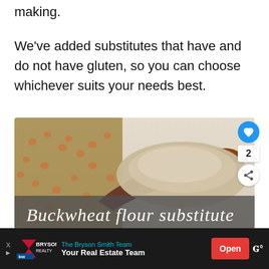making.
We've added substitutes that have and do not have gluten, so you can choose whichever suits your needs best.
[Figure (photo): Photo of buckwheat grains and buckwheat flour on a wooden spoon with a dark overlay banner reading 'Buckwheat flour substitute' in white italic script. A blue heart button, share count '2', and share icon are overlaid on the right side.]
The Bryson Smith Team Your Real Estate Team  Open